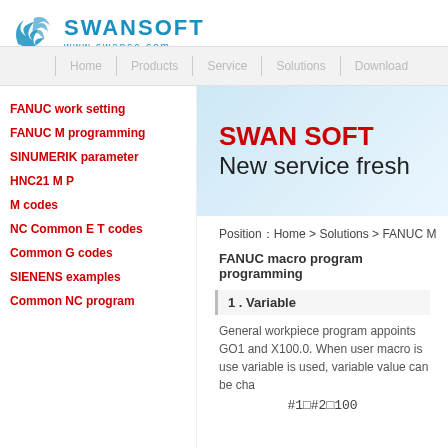[Figure (logo): Swansoft logo with swan icon, blue text SWANSOFT and www.swansc.com]
Home  |  Products  |  Service  |  Solutions  |  Download
FANUC work setting
FANUC M programming
SINUMERIK parameter
HNC21 M P
M codes
NC Common E T codes
Common G codes
SIENENS examples
Common NC program
SWAN SOFT
New service fresh
Position：Home > Solutions > FANUC M
FANUC macro program programming
1 . Variable
General workpiece program appoints GO1 and X100.0. When user macro is used, variable is used, variable value can be cha